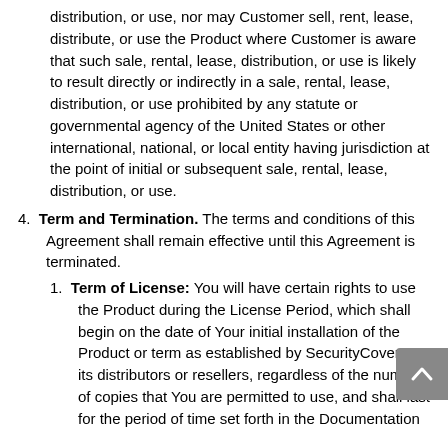distribution, or use, nor may Customer sell, rent, lease, distribute, or use the Product where Customer is aware that such sale, rental, lease, distribution, or use is likely to result directly or indirectly in a sale, rental, lease, distribution, or use prohibited by any statute or governmental agency of the United States or other international, national, or local entity having jurisdiction at the point of initial or subsequent sale, rental, lease, distribution, or use.
4. Term and Termination. The terms and conditions of this Agreement shall remain effective until this Agreement is terminated.
1. Term of License: You will have certain rights to use the Product during the License Period, which shall begin on the date of Your initial installation of the Product or term as established by SecurityCoverage, its distributors or resellers, regardless of the number of copies that You are permitted to use, and shall last for the period of time set forth in the Documentation or the applicable term as determined from the